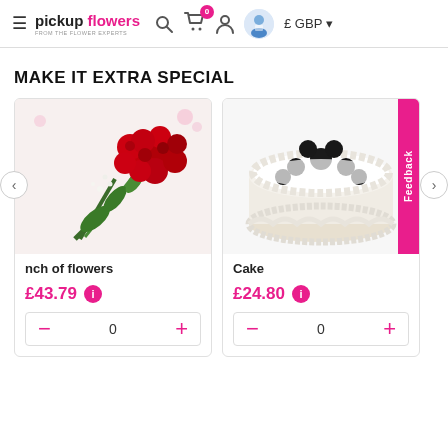pickup flowers - FROM THE FLOWER EXPERTS | Search | Cart (0) | User | Avatar | £ GBP
MAKE IT EXTRA SPECIAL
[Figure (photo): Red rose bouquet product card with price £43.79 and quantity selector showing 0]
[Figure (photo): White cake with black decorations product card with price £24.80 and quantity selector showing 0]